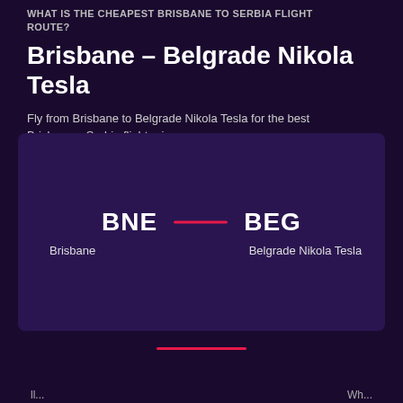WHAT IS THE CHEAPEST BRISBANE TO SERBIA FLIGHT ROUTE?
Brisbane – Belgrade Nikola Tesla
Fly from Brisbane to Belgrade Nikola Tesla for the best Brisbane – Serbia flight prices
[Figure (infographic): Route card showing BNE (Brisbane) connected by a pink/red horizontal line to BEG (Belgrade Nikola Tesla) on a dark purple background]
[Figure (infographic): Bottom section with a pink/red horizontal line separator and partially visible labels below]